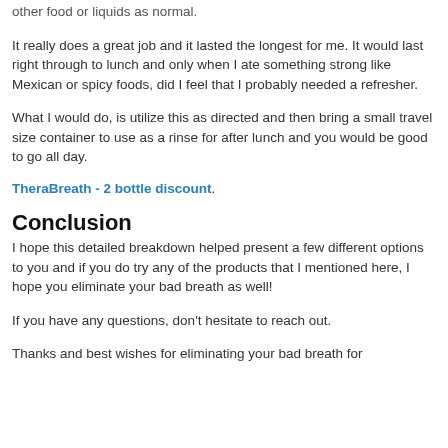other food or liquids as normal.
It really does a great job and it lasted the longest for me. It would last right through to lunch and only when I ate something strong like Mexican or spicy foods, did I feel that I probably needed a refresher.
What I would do, is utilize this as directed and then bring a small travel size container to use as a rinse for after lunch and you would be good to go all day.
TheraBreath - 2 bottle discount.
Conclusion
I hope this detailed breakdown helped present a few different options to you and if you do try any of the products that I mentioned here, I hope you eliminate your bad breath as well!
If you have any questions, don't hesitate to reach out.
Thanks and best wishes for eliminating your bad breath for